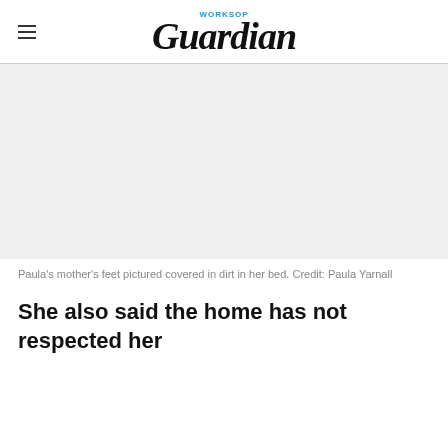WORKSOP Guardian
[Figure (photo): Large photo of Paula's mother's feet covered in dirt in her bed — image area appears blank/white in this render]
Paula's mother's feet pictured covered in dirt in her bed. Credit: Paula Yarnall
She also said the home has not respected her